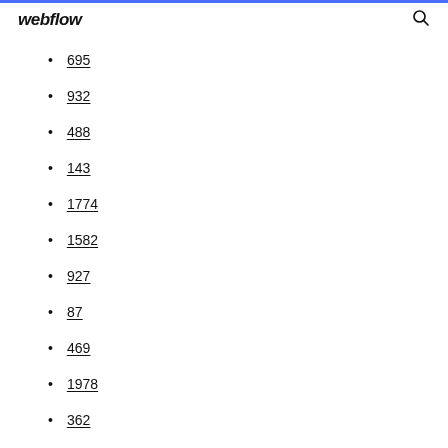webflow
695
932
488
143
1774
1582
927
87
469
1978
362
69